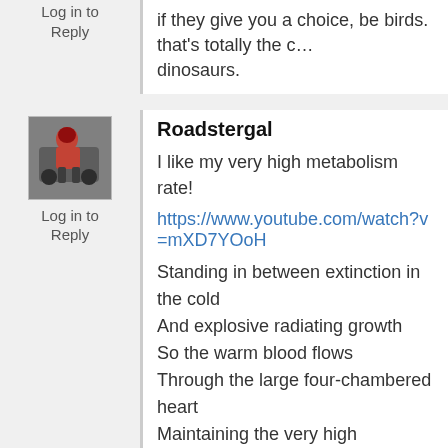if they give you a choice, be birds. that's totally the... dinosaurs.
Log in to Reply
[Figure (photo): Avatar photo of user Roadstergal showing a person in red gear on a vehicle]
Log in to Reply
Roadstergal
I like my very high metabolism rate!
https://www.youtube.com/watch?v=mXD7YOoH...
Standing in between extinction in the cold
And explosive radiating growth
So the warm blood flows
Through the large four-chambered heart
Maintaining the very high metabolism rate they h...

Mammal, mammal
Their names are called
They raise a paw
The bat, the cat
Dolphin and dog
Koala bear and hog

One of us might lose his hair
But you're reminded that it once was there